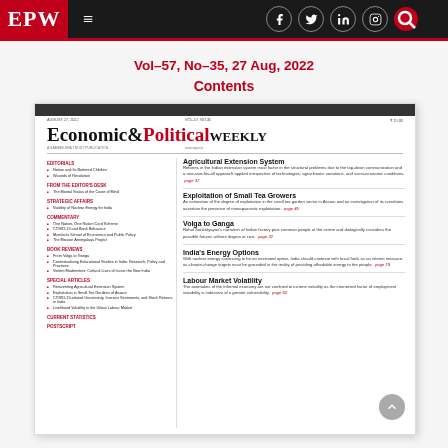EPW — Economic & Political Weekly
Vol–57, No–35, 27 Aug, 2022
Contents
[Figure (illustration): Thumbnail cover of Economic & Political Weekly Vol-57, No-35, 27 Aug 2022 showing table of contents with articles: Agricultural Extension System, Exploitation of Small Tea Growers, Volga to Ganga, India's Energy Options, Labour Market Volatility]
Agricultural Extension System — Reforms in the Indian extension system must factor in the structural problems due to the top-down communication and a one-size-fits-all approach applied irrespective of technologies, agroclimatic variations, and socio-economic conditions. page 37
Exploitation of Small Tea Growers — An estimation of the degree of exploitation in the small tea garden sector in Assam and an investigation of its correlates ascertain the presence of monopsonistic exploitation. page 45
Volga to Ganga — Rahul Sankrityayan's narration of Indian history puts common people at the centre and dialogically considers the possible futures without dogma or cast. page 31
India's Energy Options — With nuclear energy continuing to be an overrated option, India should continue with fossil fuels as an interim measure, as climate-change targets must be grounded in the reality of providing affordable energy to the people. page 19
Labour Market Volatility — The anomalies of the informal economy are not confined to income volatility as the connected factor of employment instability is indicative of a greater vulnerability. page 62